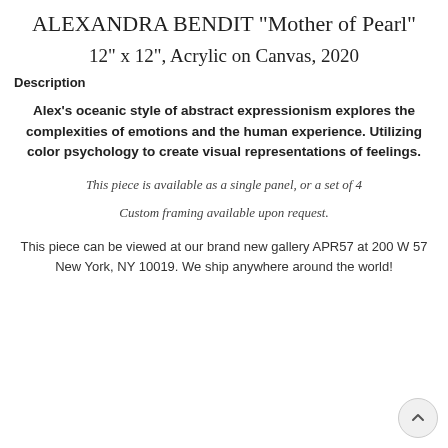ALEXANDRA BENDIT "Mother of Pearl"
12" x 12", Acrylic on Canvas, 2020
Description
Alex's oceanic style of abstract expressionism explores the complexities of emotions and the human experience. Utilizing color psychology to create visual representations of feelings.
This piece is available as a single panel, or a set of 4
Custom framing available upon request.
This piece can be viewed at our brand new gallery APR57 at 200 W 57 New York, NY 10019. We ship anywhere around the world!